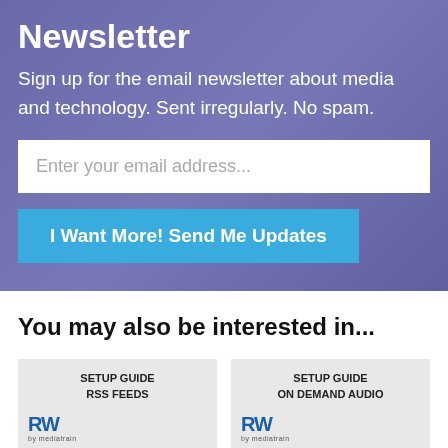Newsletter
Sign up for the email newsletter about media and technology. Sent irregularly. No spam.
Enter your email address...
I Want More! Send Me Updates
You may also be interested in...
[Figure (screenshot): Card thumbnail: SETUP GUIDE RSS FEEDS with RW by Mediatrain logo]
[Figure (screenshot): Card thumbnail: SETUP GUIDE ON DEMAND AUDIO with RW by Mediatrain logo]